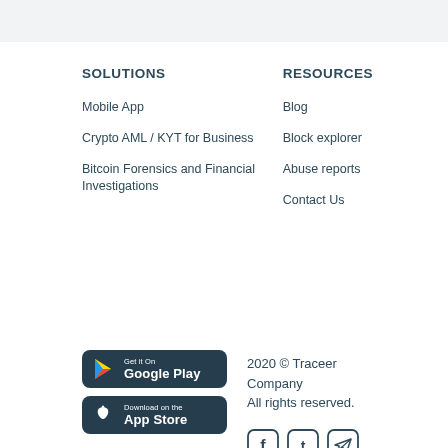SOLUTIONS
Mobile App
Crypto AML / KYT for Business
Bitcoin Forensics and Financial Investigations
RESOURCES
Blog
Block explorer
Abuse reports
Contact Us
[Figure (logo): Get it on Google Play button]
[Figure (logo): Download on the App Store button]
2020 © Traceer Company
All rights reserved.
[Figure (other): Social media icons: Facebook, Twitter, Telegram]